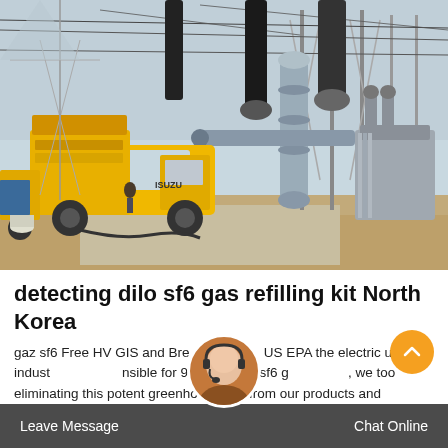[Figure (photo): A yellow Isuzu service truck parked at a high-voltage electrical substation with large transformers, insulators, and overhead power lines in the background. Sandy ground visible.]
detecting dilo sf6 gas refilling kit North Korea
gaz sf6 Free HV GIS and Breakers US EPA the electric utility industry is responsible for 90% of the gaz sf6 gas market, we too eliminating this potent greenhouse gas from our products and